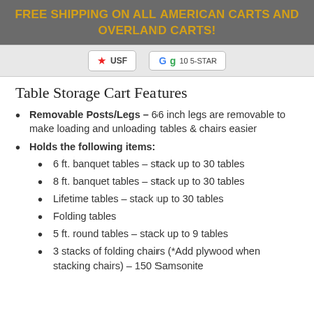FREE SHIPPING ON ALL AMERICAN CARTS AND OVERLAND CARTS!
[Figure (screenshot): Two review widgets: one showing a red star rating (Yelp-style) and one showing Google reviews with 'G g 10 5-STAR' text, both in rounded boxes on a light gray bar.]
Table Storage Cart Features
Removable Posts/Legs – 66 inch legs are removable to make loading and unloading tables & chairs easier
Holds the following items:
6 ft. banquet tables – stack up to 30 tables
8 ft. banquet tables – stack up to 30 tables
Lifetime tables – stack up to 30 tables
Folding tables
5 ft. round tables – stack up to 9 tables
3 stacks of folding chairs (*Add plywood when stacking chairs) – 150 Samsonite